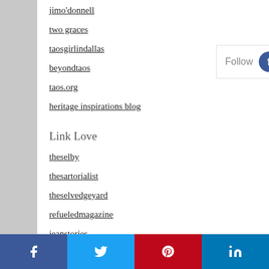jimo'donnell
two graces
taosgirlindallas
beyondtaos
taos.org
heritage inspirations blog
Link Love
theselby
thesartorialist
theselvedgeyard
refueledmagazine
jeanstories
easyfashion
[Figure (infographic): Follow bar with social media icons: Facebook, Twitter, Instagram, RSS, Pinterest, Snapchat]
[Figure (infographic): Bottom social sharing bar with Facebook, Twitter, Pinterest, LinkedIn buttons]